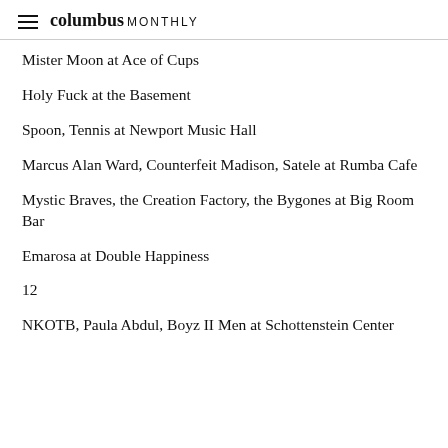columbus MONTHLY
Mister Moon at Ace of Cups
Holy Fuck at the Basement
Spoon, Tennis at Newport Music Hall
Marcus Alan Ward, Counterfeit Madison, Satele at Rumba Cafe
Mystic Braves, the Creation Factory, the Bygones at Big Room Bar
Emarosa at Double Happiness
12
NKOTB, Paula Abdul, Boyz II Men at Schottenstein Center